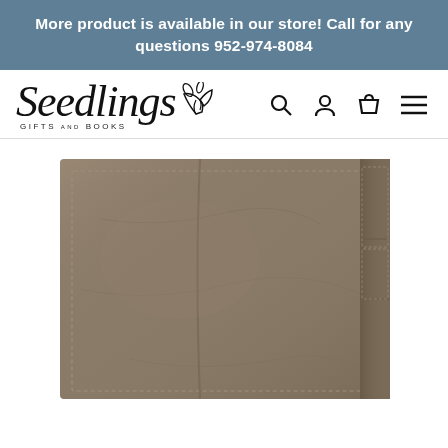More product is available in our store! Call for any questions 952-974-8084
[Figure (logo): Seedlings Gifts and Books logo with stylized script text and leaf decoration]
[Figure (photo): Close-up photo of a brown/taupe leather bifold wallet showing stitching and card pockets]